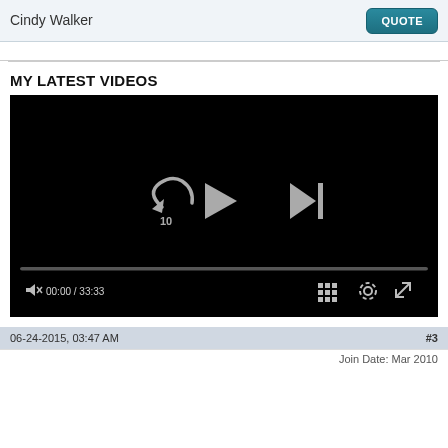Cindy Walker
QUOTE
MY LATEST VIDEOS
[Figure (screenshot): Video player with black background showing rewind-10, play, and skip-next controls. Progress bar at bottom. Time display shows 00:00 / 33:33. Volume muted icon, grid, settings, and fullscreen controls visible.]
06-24-2015, 03:47 AM  #3
Join Date: Mar 2010